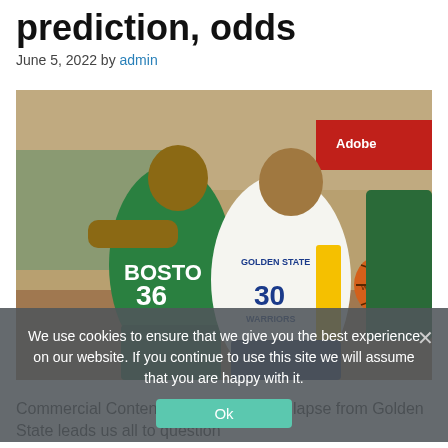prediction, odds
June 5, 2022 by admin
[Figure (photo): Basketball game photo showing a Golden State Warriors player (#30, Stephen Curry) dribbling past a Boston Celtics player (#36, Marcus Smart) during an NBA Finals game. An Adobe advertisement sign is visible in the background.]
We use cookies to ensure that we give you the best experience on our website. If you continue to use this site we will assume that you are happy with it.
Commercial Content 21+ A Game 1 collapse from Golden State leads us all to question